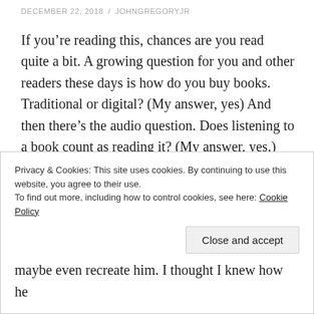DECEMBER 22, 2018 / JOHNGREGORYJR
If you’re reading this, chances are you read quite a bit. A growing question for you and other readers these days is how do you buy books. Traditional or digital? (My answer, yes) And then there’s the audio question. Does listening to a book count as reading it? (My answer, yes.)
In a coaching call this week, a completely different question surfaced. The agenda of the call was to determine the various kinds of books this guy wanted to explore reading in 2019. He wanted to determine other
Privacy & Cookies: This site uses cookies. By continuing to use this website, you agree to their use.
To find out more, including how to control cookies, see here: Cookie Policy
maybe even recreate him. I thought I knew how he